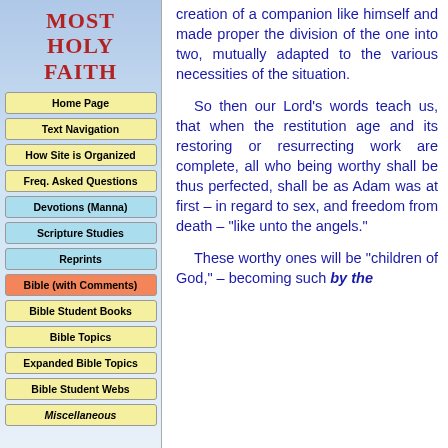MOST HOLY FAITH
Home Page
Text Navigation
How Site is Organized
Freq. Asked Questions
Devotions (Manna)
Scripture Studies
Reprints
Bible (with Comments)
Bible Student Books
Bible Topics
Expanded Bible Topics
Bible Student Webs
Miscellaneous
creation of a companion like himself and made proper the division of the one into two, mutually adapted to the various necessities of the situation.
So then our Lord's words teach us, that when the restitution age and its restoring or resurrecting work are complete, all who being worthy shall be thus perfected, shall be as Adam was at first – in regard to sex, and freedom from death – "like unto the angels."
These worthy ones will be "children of God," – becoming such by the